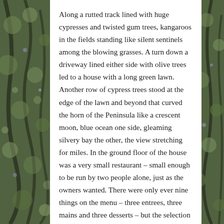[Figure (photo): Background photo of tree branches with leaves visible on left and right sides of the page, with a white text panel overlaid in the center.]
Along a rutted track lined with huge cypresses and twisted gum trees, kangaroos in the fields standing like silent sentinels among the blowing grasses. A turn down a driveway lined either side with olive trees led to a house with a long green lawn. Another row of cypress trees stood at the edge of the lawn and beyond that curved the horn of the Peninsula like a crescent moon, blue ocean one side, gleaming silvery bay the other, the view stretching for miles. In the ground floor of the house was a very small restaurant – small enough to be run by two people alone, just as the owners wanted. There were only ever nine things on the menu – three entrees, three mains and three desserts – but the selection changed daily and it was always delicious. They grew their own vegetables, made their own olive oil and wine like bottled sunshine, warm and sweet. I remember being there one day and seeing Ted, the owner, driving up in his tractor from one of the fields. His small trailer was piled high with tomatoes, red and gleaming in the sunshine. 'Help yourself,' he said, smiling. 'Please, take as many as you like.'